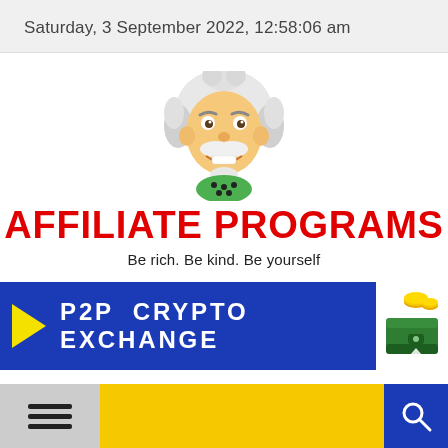Saturday, 3 September 2022, 12:58:06 am
[Figure (illustration): Cartoon mascot resembling Einstein with white hair, large mustache, smiling face, wearing green polka dot collar]
AFFILIATE PROGRAMS
Be rich. Be kind. Be yourself
[Figure (infographic): Blue banner with yellow arrow and text 'P2P CRYPTO EXCHANGE', beside a cartoon wallet with coins]
[Figure (infographic): Yellow footer bar with hamburger menu icon on left and search icon on right]